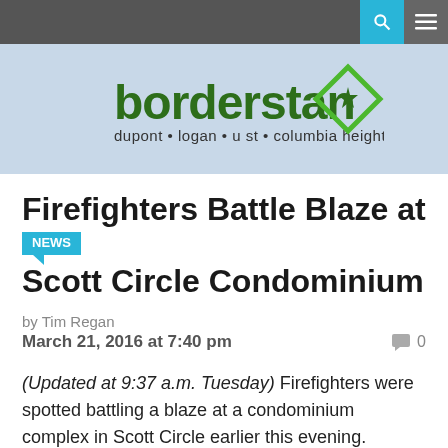[Figure (logo): Borderstan logo with green text and diamond arrow icon, subtitle: dupont • logan • u st • columbia heights]
Firefighters Battle Blaze at Scott Circle Condominium
by Tim Regan
March 21, 2016 at 7:40 pm
(Updated at 9:37 a.m. Tuesday) Firefighters were spotted battling a blaze at a condominium complex in Scott Circle earlier this evening.
According to D.C. Fire and EMS spokesman Oscar Mendez, the fire started in the General Scott